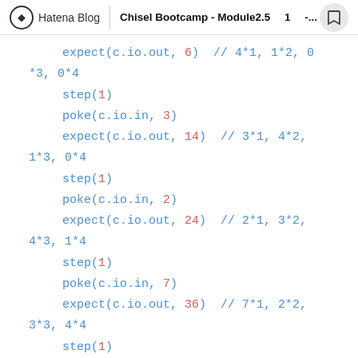Hatena Blog | Chisel Bootcamp - Module2.5 1 -...
expect(c.io.out, 6)  // 4*1, 1*2, 0*3, 0*4
    step(1)
    poke(c.io.in, 3)
    expect(c.io.out, 14)  // 3*1, 4*2, 1*3, 0*4
    step(1)
    poke(c.io.in, 2)
    expect(c.io.out, 24)  // 2*1, 3*2, 4*3, 1*4
    step(1)
    poke(c.io.in, 7)
    expect(c.io.out, 36)  // 7*1, 2*2, 3*3, 4*4
    step(1)